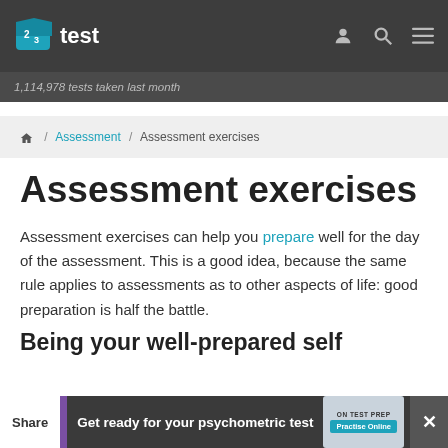[Figure (logo): 23test website logo with teal cube icon and 'test' text in white]
1,114,978 tests taken last month
Home / Assessment / Assessment exercises
Assessment exercises
Assessment exercises can help you prepare well for the day of the assessment. This is a good idea, because the same rule applies to assessments as to other aspects of life: good preparation is half the battle.
Being your well-prepared self
Share  |  Get ready for your psychometric test  [Practise Online]  ×